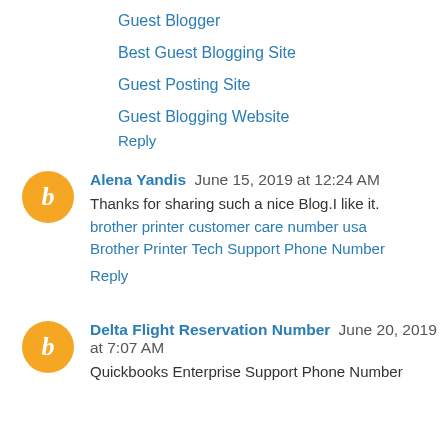Guest Blogger
Best Guest Blogging Site
Guest Posting Site
Guest Blogging Website
Reply
Alena Yandis  June 15, 2019 at 12:24 AM
Thanks for sharing such a nice Blog.I like it.
brother printer customer care number usa
Brother Printer Tech Support Phone Number
Reply
Delta Flight Reservation Number  June 20, 2019 at 7:07 AM
Quickbooks Enterprise Support Phone Number